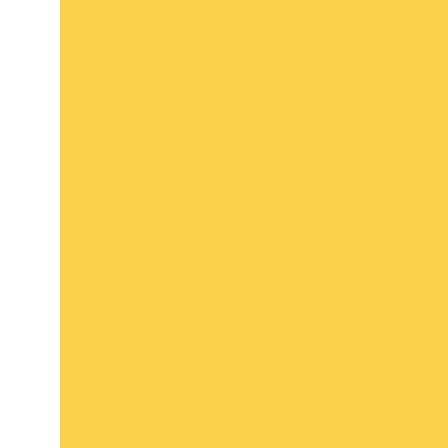[Figure (illustration): Large yellow rectangular panel on the left side of the page]
flooded by language, everything from soap give words new mean
A Scarcity of Words
What if words were su like cheetahs and par What if words became the supply suddenly l Would people panic, just to get them said or would they hoard t What if words were b that they had to be ra and you could only h Which fifty, which tw would you choose to recycle, respect, re write or say if words were sudden
Copyright c1995 by B
[Figure (illustration): Decorative colorful swirling flourish illustration with green, blue, purple and pink colors at the bottom right]